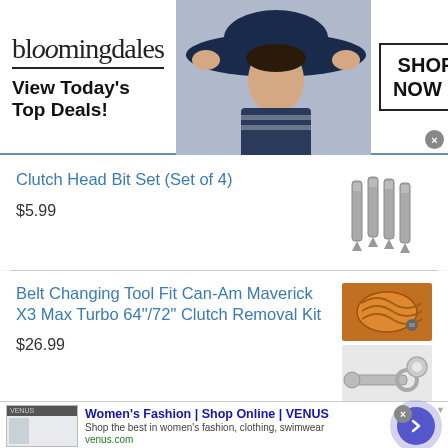[Figure (screenshot): Bloomingdales advertisement banner with logo, woman in large hat, 'View Today's Top Deals!' tagline, and 'SHOP NOW >' button]
Clutch Head Bit Set (Set of 4)
$5.99
[Figure (photo): Product photo of clutch head bit set, 4 small metallic bits]
Belt Changing Tool Fit Can-Am Maverick X3 Max Turbo 64"/72" Clutch Removal Kit
$26.99
[Figure (photo): Product photos of belt changing tool and clutch removal kit components]
[Figure (screenshot): VENUS Women's Fashion advertisement banner with website screenshot thumbnail, title, description and arrow button]